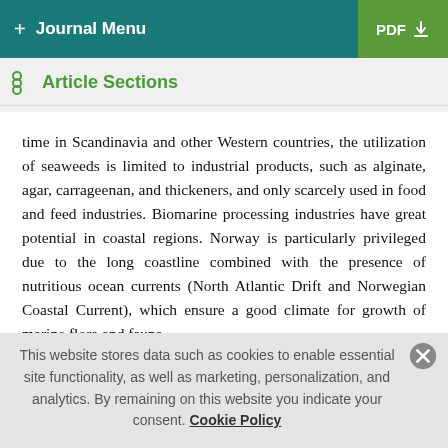+ Journal Menu  PDF ↓
Article Sections
time in Scandinavia and other Western countries, the utilization of seaweeds is limited to industrial products, such as alginate, agar, carrageenan, and thickeners, and only scarcely used in food and feed industries. Biomarine processing industries have great potential in coastal regions. Norway is particularly privileged due to the long coastline combined with the presence of nutritious ocean currents (North Atlantic Drift and Norwegian Coastal Current), which ensure a good climate for growth of marine flora and fauna.
Seaweed has for many years been thought to have positive effect on human health, and consumption of these marine plants has
This website stores data such as cookies to enable essential site functionality, as well as marketing, personalization, and analytics. By remaining on this website you indicate your consent. Cookie Policy